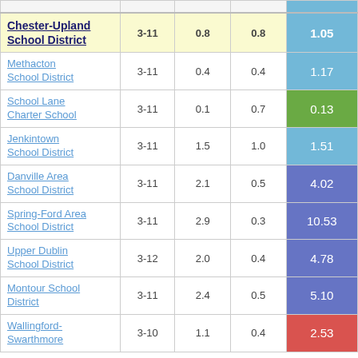| School/District | Grades | Col3 | Col4 | Value |
| --- | --- | --- | --- | --- |
| Chester-Upland School District | 3-11 | 0.8 | 0.8 | 1.05 |
| Methacton School District | 3-11 | 0.4 | 0.4 | 1.17 |
| School Lane Charter School | 3-11 | 0.1 | 0.7 | 0.13 |
| Jenkintown School District | 3-11 | 1.5 | 1.0 | 1.51 |
| Danville Area School District | 3-11 | 2.1 | 0.5 | 4.02 |
| Spring-Ford Area School District | 3-11 | 2.9 | 0.3 | 10.53 |
| Upper Dublin School District | 3-12 | 2.0 | 0.4 | 4.78 |
| Montour School District | 3-11 | 2.4 | 0.5 | 5.10 |
| Wallingford-Swarthmore | 3-10 | 1.1 | 0.4 | 2.53 |